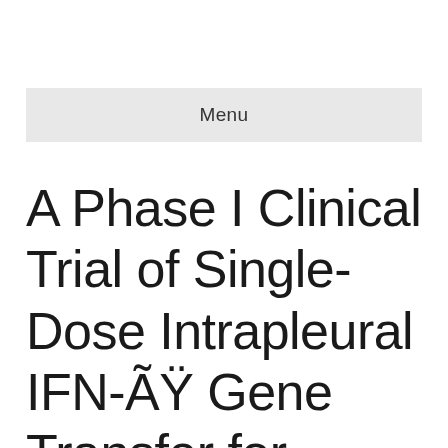Menu
A Phase I Clinical Trial of Single-Dose Intrapleural IFN-ÃŸ Gene Transfer for Malignant Pleural Mesothelioma and Metastatic Pleural